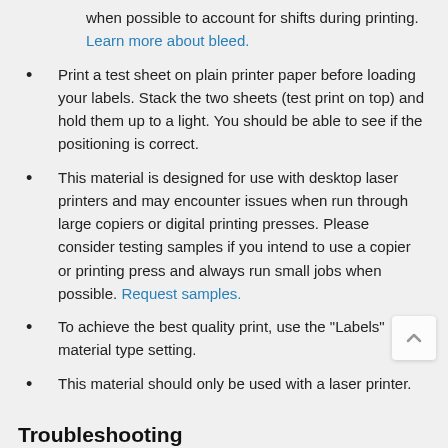when possible to account for shifts during printing. Learn more about bleed.
Print a test sheet on plain printer paper before loading your labels. Stack the two sheets (test print on top) and hold them up to a light. You should be able to see if the positioning is correct.
This material is designed for use with desktop laser printers and may encounter issues when run through large copiers or digital printing presses. Please consider testing samples if you intend to use a copier or printing press and always run small jobs when possible. Request samples.
To achieve the best quality print, use the "Labels" material type setting.
This material should only be used with a laser printer.
Troubleshooting